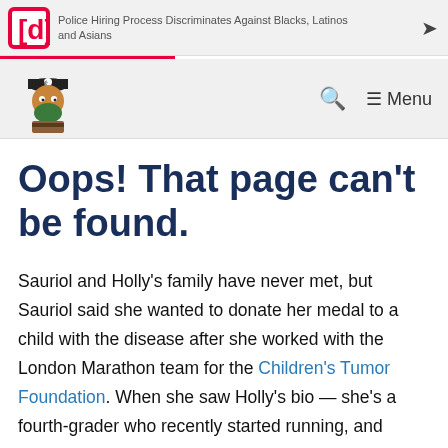Police Hiring Process Discriminates Against Blacks, Latinos and Asians
Oops! That page can't be found.
Sauriol and Holly's family have never met, but Sauriol said she wanted to donate her medal to a child with the disease after she worked with the London Marathon team for the Children's Tumor Foundation. When she saw Holly's bio — she's a fourth-grader who recently started running, and Sauriol began her running career in fourth grade — she